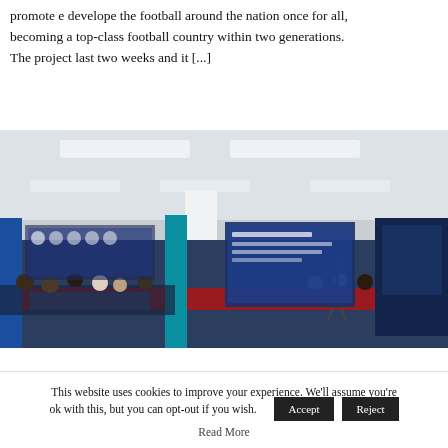promote e develope the football around the nation once for all, becoming a top-class football country within two generations. The project last two weeks and it [...]
[Figure (photo): Conference room photo showing attendees seated at tables with blue banners and a large screen displaying Chinese text, ceiling with fluorescent lights]
This website uses cookies to improve your experience. We'll assume you're ok with this, but you can opt-out if you wish. Accept Reject Read More